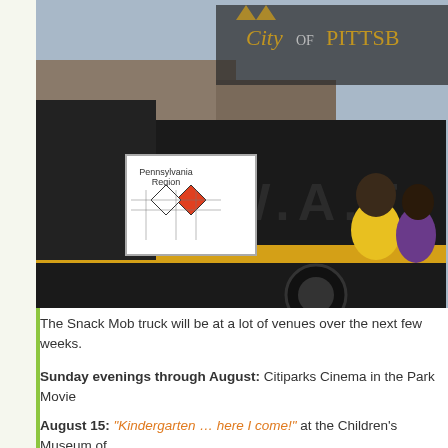[Figure (photo): A black City of Pittsburgh S.W.A.T. truck with yellow stripe parked on a street. A Pennsylvania Region hazmat placard is visible on the side. People including someone in a yellow shirt are visible near the vehicle. Buildings and sky visible in background.]
The Snack Mob truck will be at a lot of venues over the next few weeks.
Sunday evenings through August: Citiparks Cinema in the Park Movie
August 15: "Kindergarten … here I come!" at the Children's Museum of
August 30: First Responders Day at Kennywood Park(10:30 a.m.)
September 19: Junior Great Race at Point State Park (8 a.m.)